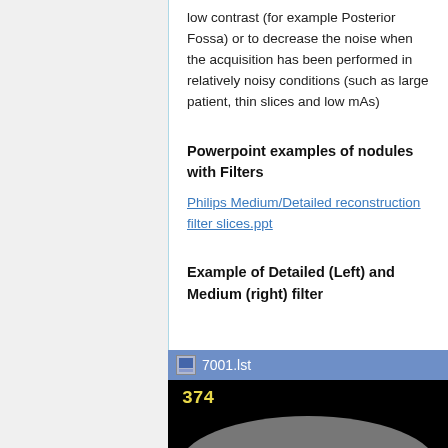low contrast (for example Posterior Fossa) or to decrease the noise when the acquisition has been performed in relatively noisy conditions (such as large patient, thin slices and low mAs)
Powerpoint examples of nodules with Filters
Philips Medium/Detailed reconstruction filter slices.ppt
Example of Detailed (Left) and Medium (right) filter
[Figure (screenshot): Screenshot of a medical imaging application showing a CT scan image with titlebar reading '7001.lst' and a number '374' displayed in yellow on a black background, with a curved anatomical structure visible at the bottom.]